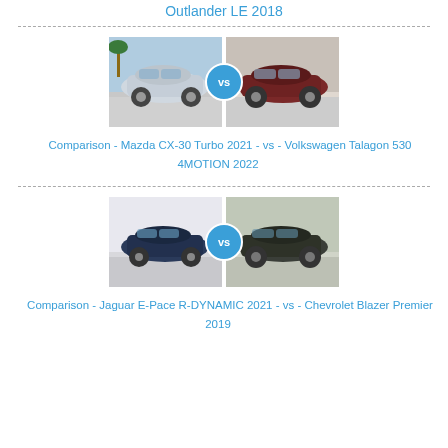Outlander LE 2018
[Figure (illustration): Side-by-side car comparison image: Mazda CX-30 Turbo 2021 vs Volkswagen Talagon 530 4MOTION 2022, with a 'vs' badge in the center]
Comparison - Mazda CX-30 Turbo 2021 - vs - Volkswagen Talagon 530 4MOTION 2022
[Figure (illustration): Side-by-side car comparison image: Jaguar E-Pace R-DYNAMIC 2021 vs Chevrolet Blazer Premier 2019, with a 'vs' badge in the center]
Comparison - Jaguar E-Pace R-DYNAMIC 2021 - vs - Chevrolet Blazer Premier 2019